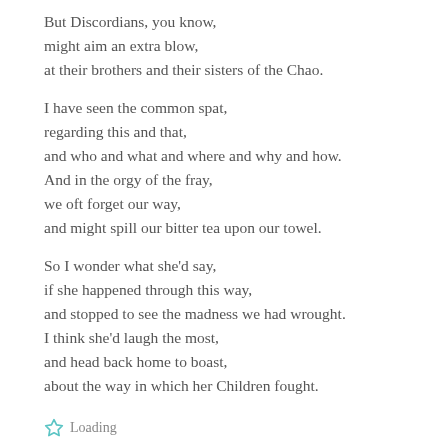But Discordians, you know,
might aim an extra blow,
at their brothers and their sisters of the Chao.

I have seen the common spat,
regarding this and that,
and who and what and where and why and how.
And in the orgy of the fray,
we oft forget our way,
and might spill our bitter tea upon our towel.

So I wonder what she'd say,
if she happened through this way,
and stopped to see the madness we had wrought.
I think she'd laugh the most,
and head back home to boast,
about the way in which her Children fought.
Loading